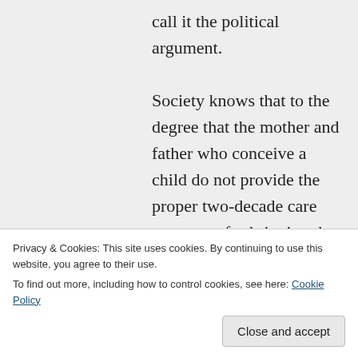call it the political argument. Society knows that to the degree that the mother and father who conceive a child do not provide the proper two-decade care necessary for bringing the child to
Privacy & Cookies: This site uses cookies. By continuing to use this website, you agree to their use.
To find out more, including how to control cookies, see here: Cookie Policy
single-parent children